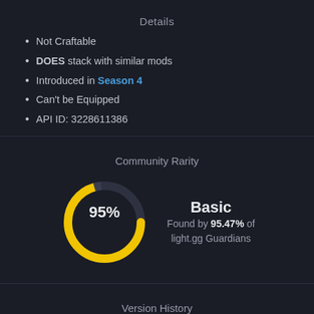Details
Not Craftable
DOES stack with similar mods
Introduced in Season 4
Can't be Equipped
API ID: 3228611386
Community Rarity
[Figure (donut-chart): Community Rarity]
Basic
Found by 95.47% of light.gg Guardians
Version History
MODIFIED   2/18/2022
MODIFIED   2/8/2021